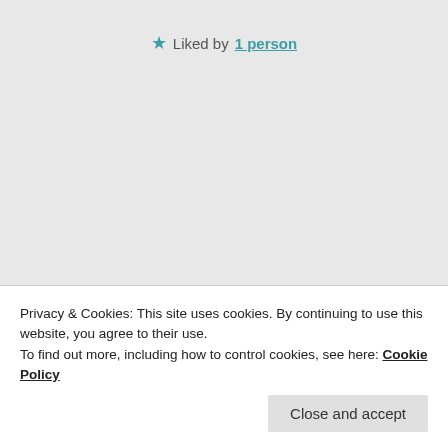Liked by 1 person
flute4god
14 December 2015 at 4:59 pm  Reply
Privacy & Cookies: This site uses cookies. By continuing to use this website, you agree to their use.
To find out more, including how to control cookies, see here: Cookie Policy
Close and accept